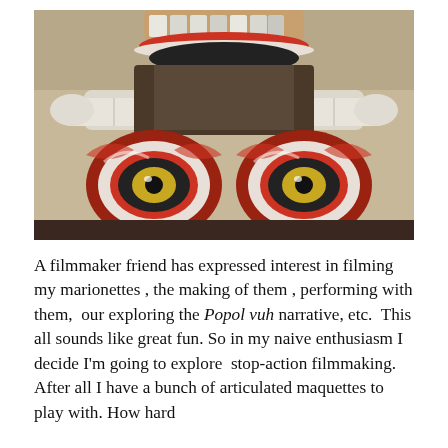[Figure (photo): Close-up photograph of a sculpted marionette or puppet head with exaggerated features: a wide open mouth showing teeth at the top, a bone-like horizontal structure in the middle, and two large bulging red and white eyes with yellow irises at the bottom. The sculpture appears to be made of clay or ceramic, painted in red, white, and dark colors, photographed against a beige/tan background.]
A filmmaker friend has expressed interest in filming my marionettes , the making of them , performing with them,  our exploring the Popol vuh narrative, etc.  This all sounds like great fun. So in my naive enthusiasm I decide I'm going to explore  stop-action filmmaking. After all I have a bunch of articulated maquettes to play with. How hard